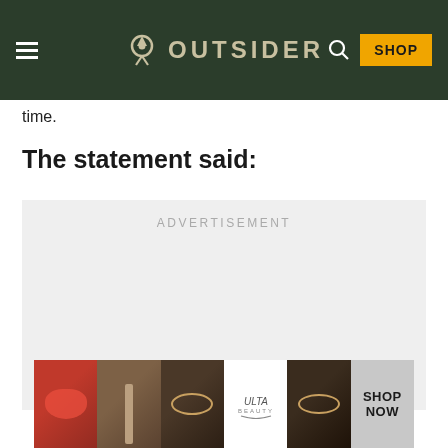OUTSIDER
time.
The statement said:
[Figure (other): Advertisement placeholder box with light gray background and 'ADVERTISEMENT' label text]
[Figure (other): Bottom banner advertisement for ULTA beauty with makeup images and SHOP NOW text]